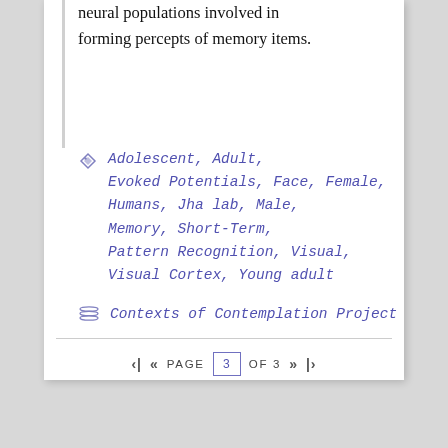neural populations involved in forming percepts of memory items.
Adolescent, Adult, Evoked Potentials, Face, Female, Humans, Jha lab, Male, Memory, Short-Term, Pattern Recognition, Visual, Visual Cortex, Young adult
Contexts of Contemplation Project
PAGE 3 OF 3